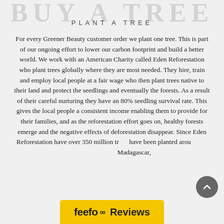PLANT A TREE
For every Greener Beauty customer order we plant one tree. This is part of our ongoing effort to lower our carbon footprint and build a better world. We work with an American Charity called Eden Reforestation who plant trees globally where they are most needed. They hire, train and employ local people at a fair wage who then plant trees native to their land and protect the seedlings and eventually the forests. As a result of their careful nurturing they have an 80% seedling survival rate. This gives the local people a consistent income enabling them to provide for their families, and as the reforestation effort goes on, healthy forests emerge and the negative effects of deforestation disappear. Since Eden Reforestation have over 350 million trees have been planted around the world including Madagascar,
[Figure (logo): Feefo Reviews badge in yellow with feefo logo and Reviews text]